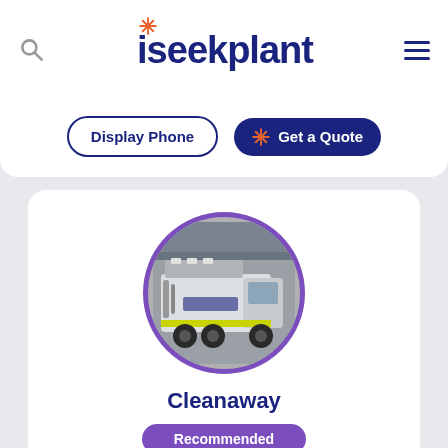iseekplant
Display Phone
Get a Quote
[Figure (photo): Circular profile image of a Cleanaway industrial vacuum/cleaning truck (white with yellow markings) parked inside a warehouse, bordered with purple ring]
Cleanaway
Recommended
(5) ★★★★★
Kooragang, NSW